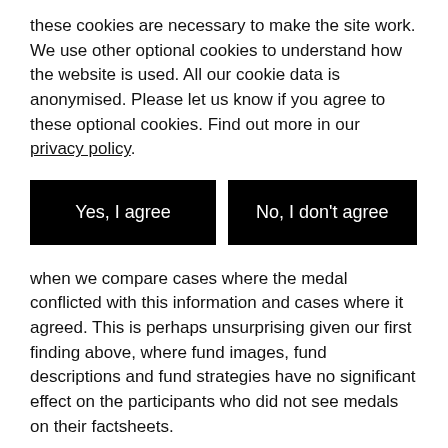these cookies are necessary to make the site work. We use other optional cookies to understand how the website is used. All our cookie data is anonymised. Please let us know if you agree to these optional cookies. Find out more in our privacy policy.
[Figure (other): Two black buttons side by side: 'Yes, I agree' and 'No, I don't agree']
when we compare cases where the medal conflicted with this information and cases where it agreed. This is perhaps unsurprising given our first finding above, where fund images, fund descriptions and fund strategies have no significant effect on the participants who did not see medals on their factsheets.
This could suggest consumers may not always spot greenwashing, but it could also be that they just do not respond to it. Of course, our setup also does not test